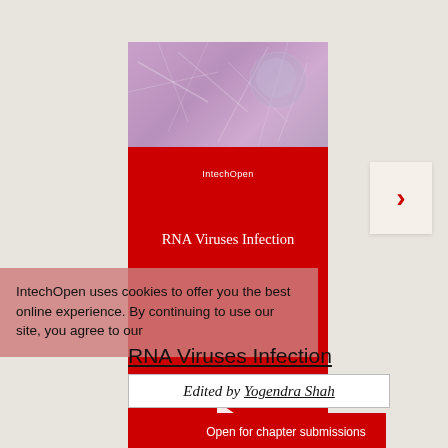[Figure (illustration): Book cover for 'RNA Viruses Infection' published by IntechOpen. Top section shows purple/lavender textured background with biological imagery. Middle large red section displays publisher name 'IntechOpen', book title 'RNA Viruses Infection', and IntechOpen logo (white bird/flag icon). Bottom section shows blue-green textured background.]
IntechOpen uses cookies to offer you the best online experience. By continuing to use our site, you agree to our
RNA Viruses Infection
Edited by Yogendra Shah
[Figure (other): Navigation arrow button — white/cream square button with red right-pointing chevron/arrow]
Open for chapter submissions